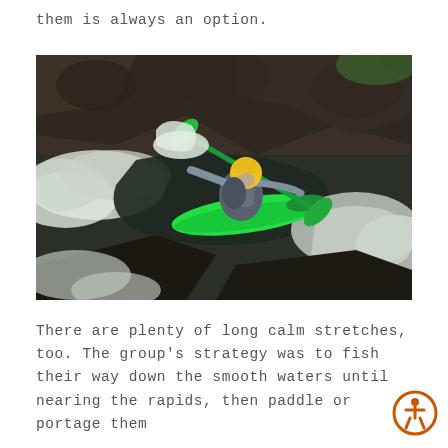them is always an option.
[Figure (photo): A kayaker in a bright green kayak wearing a yellow helmet and life vest navigating turbulent whitewater rapids surrounded by dark rocky cliffs.]
There are plenty of long calm stretches, too. The group's strategy was to fish their way down the smooth waters until nearing the rapids, then paddle or portage them